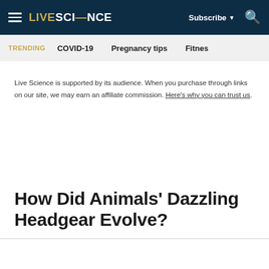LIVE SCIENCE — Subscribe — Search
TRENDING  COVID-19  Pregnancy tips  Fitnes
Live Science is supported by its audience. When you purchase through links on our site, we may earn an affiliate commission. Here's why you can trust us.
How Did Animals' Dazzling Headgear Evolve?